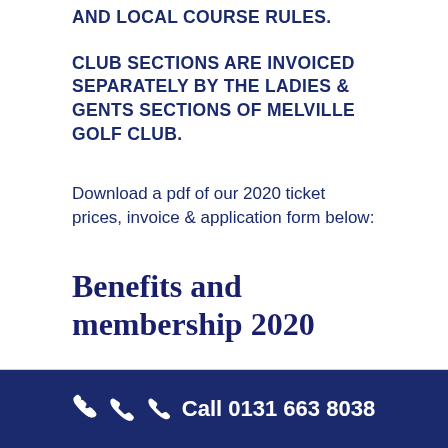AND LOCAL COURSE RULES.
CLUB SECTIONS ARE INVOICED SEPARATELY BY THE LADIES & GENTS SECTIONS OF MELVILLE GOLF CLUB.
Download a pdf of our 2020 ticket prices, invoice & application form below:
Benefits and membership 2020
Call 0131 663 8038